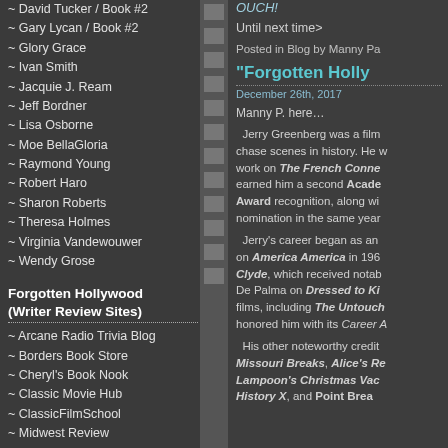~ David Tucker / Book #2
~ Gary Lycan / Book #2
~ Glory Grace
~ Ivan Smith
~ Jacquie J. Ream
~ Jeff Bordner
~ Lisa Osborne
~ Moe BellaGloria
~ Raymond Young
~ Robert Haro
~ Sharon Roberts
~ Theresa Holmes
~ Virginia Vandewouwer
~ Wendy Grose
Forgotten Hollywood (Writer Review Sites)
~ Arcane Radio Trivia Blog
~ Borders Book Store
~ Cheryl's Book Nook
~ Classic Movie Hub
~ ClassicFilmSchool
~ Midwest Review
~ Midwest Review / Book #2
~ Midwest Review / Book #3
OUCH!
Until next time>
Posted in Blog by Manny Pa
“Forgotten Holly
December 26th, 2017
Manny P. here…
Jerry Greenberg was a film chase scenes in history. He work on The French Conne earned him a second Acade Award recognition, along wi nomination in the same year
Jerry's career began as an on America America in 196 Clyde, which received notab De Palma on Dressed to Ki films, including The Untouch honored him with its Career A
His other noteworthy credit Missouri Breaks, Alice's Re Lampoon's Christmas Vac History X, and Point Brea